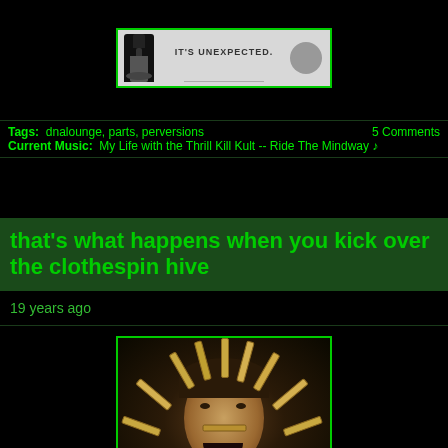[Figure (photo): Advertisement image showing a dark bottle with text 'IT'S UNEXPECTED.' on a gray background, framed with green border]
Tags:  dnalounge, parts, perversions	5 Comments
Current Music:  My Life with the Thrill Kill Kult -- Ride The Mindway ♪
that's what happens when you kick over the clothespin hive
19 years ago
[Figure (photo): Photo of a person's face surrounded by many wooden clothespins arranged in a radial sunburst pattern, person is smiling/grimacing, framed with green border]